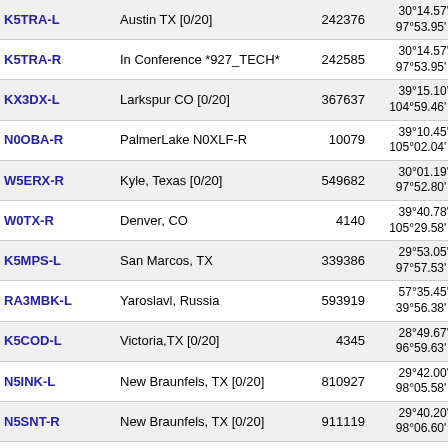| Callsign | Location | Node | Coordinates | Grid |
| --- | --- | --- | --- | --- |
| K5TRA-L | Austin TX [0/20] | 242376 | 30°14.57' N 97°53.95' W | EM10 |
| K5TRA-R | In Conference *927_TECH* | 242585 | 30°14.57' N 97°53.95' W | EM10 |
| KX3DX-L | Larkspur CO [0/20] | 367637 | 39°15.10' N 104°59.46' W | DM79 |
| N0OBA-R | PalmerLake N0XLF-R | 10079 | 39°10.45' N 105°02.04' W | DM79 |
| W5ERX-R | Kyle, Texas [0/20] | 549682 | 30°01.19' N 97°52.80' W | EM10 |
| W0TX-R | Denver, CO | 4140 | 39°40.78' N 105°29.58' W | DM79 |
| K5MPS-L | San Marcos, TX | 339386 | 29°53.05' N 97°57.53' W | EL19 |
| RA3MBK-L | Yaroslavl, Russia | 593919 | 57°35.45' N 39°56.38' W | HO07 |
| K5COD-L | Victoria,TX [0/20] | 4345 | 28°49.67' N 96°59.63' W | EL18 |
| N5INK-L | New Braunfels, TX [0/20] | 810927 | 29°42.00' N 98°05.58' W | EL09 |
| N5SNT-R | New Braunfels, TX [0/20] | 911119 | 29°40.20' N 98°06.60' W | EL09 |
| YM7KA-R | TRAC_TRABZON 145.625 | 628237 | 40°59.00' N 39°43.00' W | HN00 |
| N5ZR-R | Selma, TX [0/20] | 50264 | 29°35.09' N 98°19.46' W | EL09 |
| W5TFD-L | Universal City, TX [0/20] | 748310 | 29°34.18' N | EL09 |